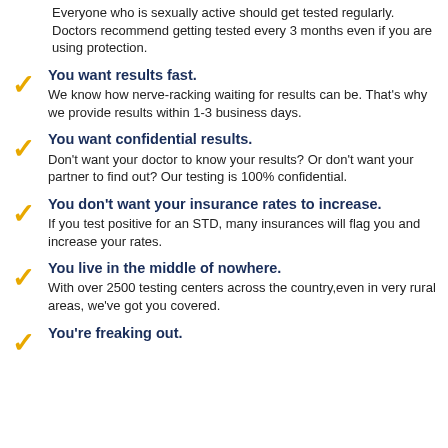Everyone who is sexually active should get tested regularly. Doctors recommend getting tested every 3 months even if you are using protection.
You want results fast. We know how nerve-racking waiting for results can be. That's why we provide results within 1-3 business days.
You want confidential results. Don't want your doctor to know your results? Or don't want your partner to find out? Our testing is 100% confidential.
You don't want your insurance rates to increase. If you test positive for an STD, many insurances will flag you and increase your rates.
You live in the middle of nowhere. With over 2500 testing centers across the country, even in very rural areas, we've got you covered.
You're freaking out.